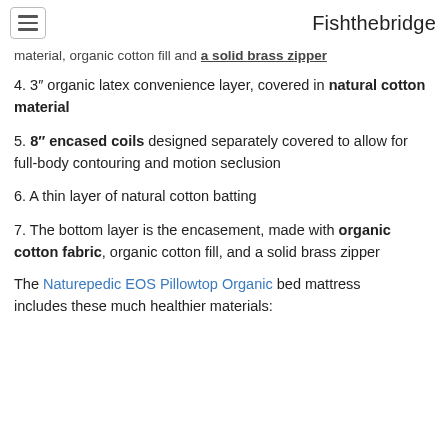Fishthebridge
material, organic cotton fill and a solid brass zipper
4. 3″ organic latex convenience layer, covered in natural cotton material
5. 8″ encased coils designed separately covered to allow for full-body contouring and motion seclusion
6. A thin layer of natural cotton batting
7. The bottom layer is the encasement, made with organic cotton fabric, organic cotton fill, and a solid brass zipper
The Naturepedic EOS Pillowtop Organic bed mattress includes these much healthier materials: